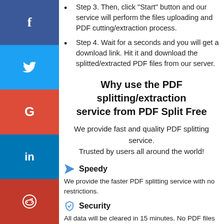Step 3. Then, click "Start" button and our service will perform the files uploading and PDF cutting/extraction process.
Step 4. Wait for a seconds and you will get a download link. Hit it and download the splitted/extracted PDF files from our server.
Why use the PDF splitting/extraction service from PDF Split Free
We provide fast and quality PDF splitting service. Trusted by users all around the world!
Speedy
We provide the faster PDF splitting service with no restrictions.
Security
All data will be cleared in 15 minutes. No PDF files will be